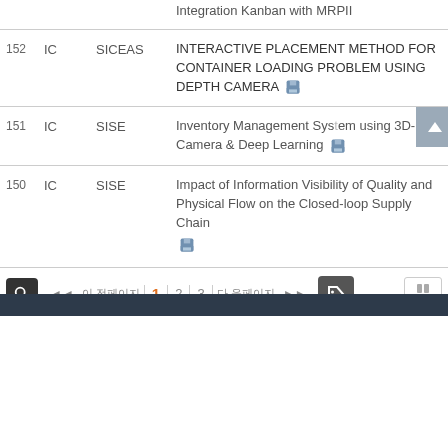| # | Type | Conference | Title |
| --- | --- | --- | --- |
| 152 | IC | SICEAS | INTERACTIVE PLACEMENT METHOD FOR CONTAINER LOADING PROBLEM USING DEPTH CAMERA |
| 151 | IC | SISE | Inventory Management System using 3D-Camera & Deep Learning |
| 150 | IC | SISE | Impact of Information Visibility of Quality and Physical Flow on the Closed-loop Supply Chain |
Page navigation: 1 2 3